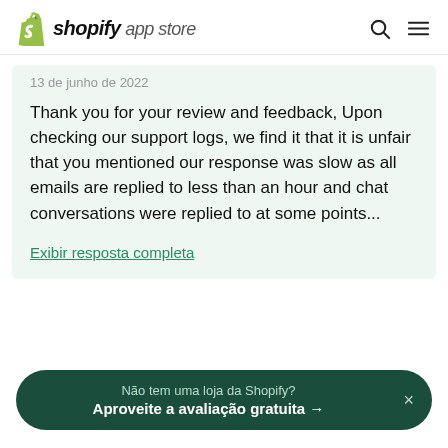shopify app store
13 de junho de 2022
Thank you for your review and feedback, Upon checking our support logs, we find it that it is unfair that you mentioned our response was slow as all emails are replied to less than an hour and chat conversations were replied to at some points...
Exibir resposta completa
Não tem uma loja da Shopify? Aproveite a avaliação gratuita →